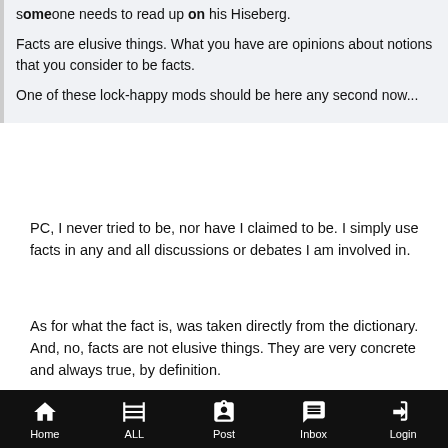someone needs to read up on his Hiseberg.
Facts are elusive things. What you have are opinions about notions that you consider to be facts.
One of these lock-happy mods should be here any second now...
PC, I never tried to be, nor have I claimed to be. I simply use facts in any and all discussions or debates I am involved in.
As for what the fact is, was taken directly from the dictionary. And, no, facts are not elusive things. They are very concrete and always true, by definition.
Home   ALL   Post   Inbox   Login